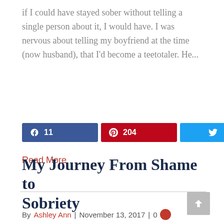if I could have stayed sober without telling a single person about it, I would have. I was nervous about telling my boyfriend at the time (now husband), that I'd become a teetotaler. He...
[Figure (infographic): Social sharing buttons: Facebook with 11 shares (blue), Pinterest with 204 shares (red), Twitter (light blue), and a total share count of 215 SHARES]
Read More
My Journey From Shame to Sobriety
By Ashley Ann | November 13, 2017 | 0